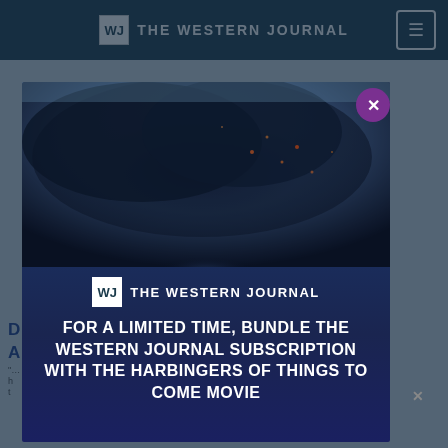THE WESTERN JOURNAL
[Figure (screenshot): Screenshot of The Western Journal website with a modal popup overlay. The modal shows a storm/smoke image at the top, The Western Journal logo, and promotional text. Background shows partial article headline and article images.]
FOR A LIMITED TIME, BUNDLE THE WESTERN JOURNAL SUBSCRIPTION WITH THE HARBINGERS OF THINGS TO COME MOVIE